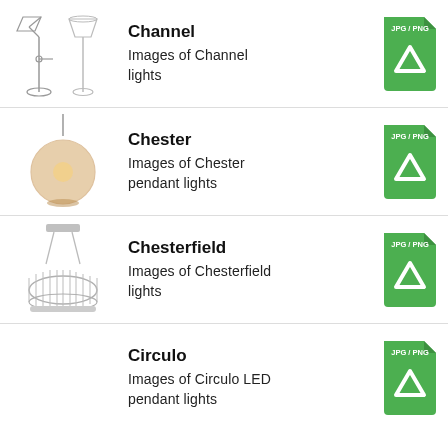Channel - Images of Channel lights
Chester - Images of Chester pendant lights
Chesterfield - Images of Chesterfield lights
Circulo - Images of Circulo LED pendant lights